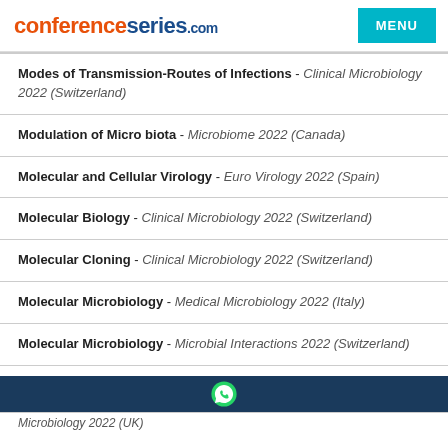conferenceseries.com   MENU
Modes of Transmission-Routes of Infections - Clinical Microbiology 2022 (Switzerland)
Modulation of Micro biota - Microbiome 2022 (Canada)
Molecular and Cellular Virology - Euro Virology 2022 (Spain)
Molecular Biology - Clinical Microbiology 2022 (Switzerland)
Molecular Cloning - Clinical Microbiology 2022 (Switzerland)
Molecular Microbiology - Medical Microbiology 2022 (Italy)
Molecular Microbiology - Microbial Interactions 2022 (Switzerland)
Microbiology 2022 (UK)